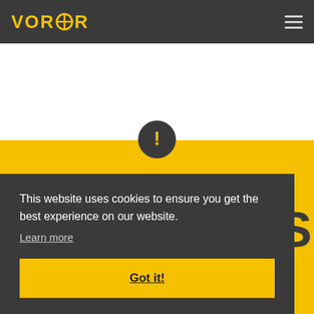VORSOR
This website uses cookies to ensure you get the best experience on our website.
Learn more
Got it!
ESS